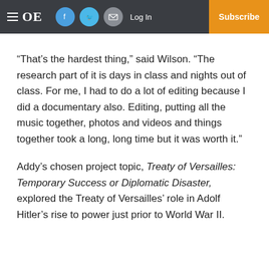OE — Log In — Subscribe
“That’s the hardest thing,” said Wilson. “The research part of it is days in class and nights out of class. For me, I had to do a lot of editing because I did a documentary also. Editing, putting all the music together, photos and videos and things together took a long, long time but it was worth it.”
Addy’s chosen project topic, Treaty of Versailles: Temporary Success or Diplomatic Disaster, explored the Treaty of Versailles’ role in Adolf Hitler’s rise to power just prior to World War II.